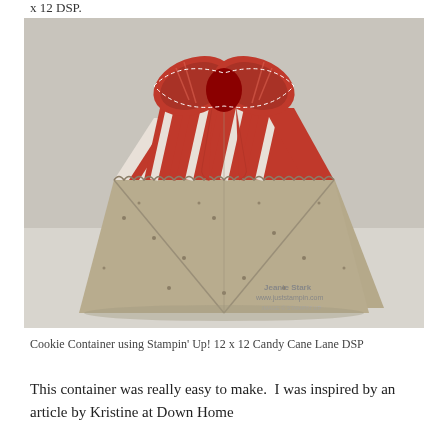x 12 DSP.
[Figure (photo): A decorative cookie container made from Stampin' Up! 12 x 12 Candy Cane Lane DSP, featuring a tan polka-dot exterior with red and white striped interior panels, topped with a large red ribbon bow. Watermark reads 'Jeanie Stark www.juststampin.com'.]
Cookie Container using Stampin' Up! 12 x 12 Candy Cane Lane DSP
This container was really easy to make.  I was inspired by an article by Kristine at Down Home